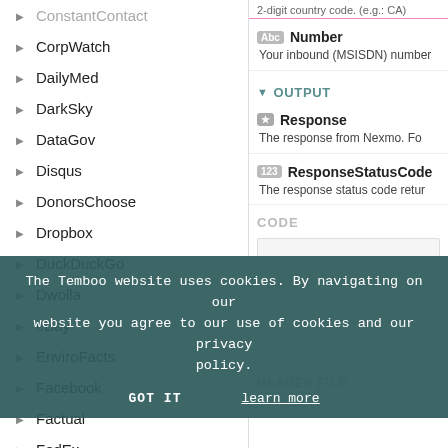ConstantContact
CorpWatch
DailyMed
DarkSky
DataGov
Disqus
DonorsChoose
Dropbox
DuckDuckGo
Dwolla
eBay
EnviroFacts
Facebook
Factual
FedEx
FilesAnywhere
Fitbit
Flickr
Genability
GitHub
Google
GovTrack
OUTPUT
Number
Your inbound (MSISDN) number
Response
The response from Nexmo. Fo
ResponseStatusCode
The response status code retur
CODE
HEADER FILE
The Temboo website uses cookies. By navigating on our website you agree to our use of cookies and our privacy policy.
GOT IT
learn more